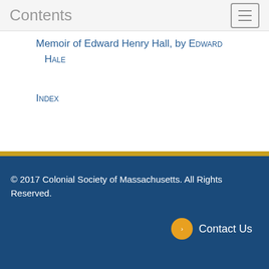Contents
Memoir of Edward Henry Hall, by Edward Hale
Index
© 2017 Colonial Society of Massachusetts. All Rights Reserved.
Contact Us